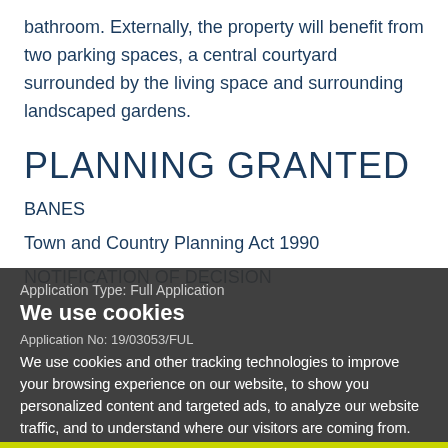bathroom. Externally, the property will benefit from two parking spaces, a central courtyard surrounded by the living space and surrounding landscaped gardens.
PLANNING GRANTED
BANES
Town and Country Planning Act 1990
NOTIFICATION OF DECISION
Application Type: Full Application
Application No: 19/03053/FUL
We use cookies
We use cookies and other tracking technologies to improve your browsing experience on our website, to show you personalized content and targeted ads, to analyze our website traffic, and to understand where our visitors are coming from.
Description of Proposal: Erection of a new two-story residential dwelling.